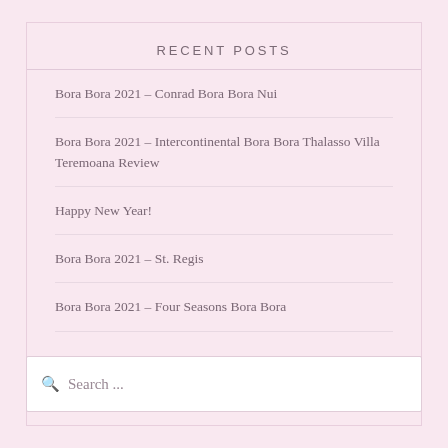RECENT POSTS
Bora Bora 2021 – Conrad Bora Bora Nui
Bora Bora 2021 – Intercontinental Bora Bora Thalasso Villa Teremoana Review
Happy New Year!
Bora Bora 2021 – St. Regis
Bora Bora 2021 – Four Seasons Bora Bora
Search ...